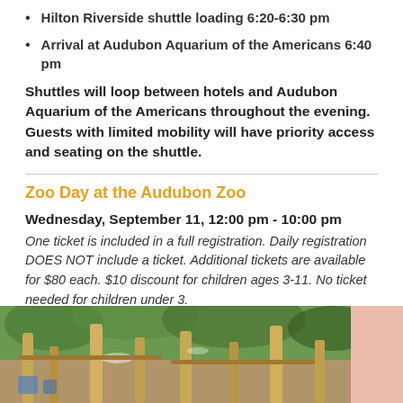Hilton Riverside shuttle loading 6:20-6:30 pm
Arrival at Audubon Aquarium of the Americans 6:40 pm
Shuttles will loop between hotels and Audubon Aquarium of the Americans throughout the evening. Guests with limited mobility will have priority access and seating on the shuttle.
Zoo Day at the Audubon Zoo
Wednesday, September 11, 12:00 pm - 10:00 pm
One ticket is included in a full registration.  Daily registration DOES NOT include a ticket.  Additional tickets are available for $80 each.  $10 discount for children ages 3-11.  No ticket needed for children under 3.
[Figure (photo): Outdoor photo showing bamboo or wooden poles with water spray and greenery in the background, suggesting a zoo or garden environment.]